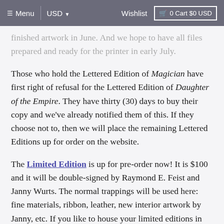≡ Menu  |  USD ▼  Wishlist  0 Cart $0 USD
finished artwork in June. And we hope to have all files prepared and ready for the printer in early July.
Those who hold the Lettered Edition of Magician have first right of refusal for the Lettered Edition of Daughter of the Empire. They have thirty (30) days to buy their copy and we've already notified them of this. If they choose not to, then we will place the remaining Lettered Editions up for order on the website.
The Limited Edition is up for pre-order now! It is $100 and it will be double-signed by Raymond E. Feist and Janny Wurts. The normal trappings will be used here: fine materials, ribbon, leather, new interior artwork by Janny, etc. If you like to house your limited editions in slipcases, order the slipcase for Daughter at the same time to save on shipping.